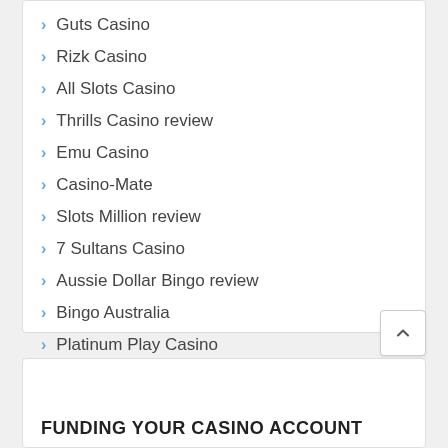Guts Casino
Rizk Casino
All Slots Casino
Thrills Casino review
Emu Casino
Casino-Mate
Slots Million review
7 Sultans Casino
Aussie Dollar Bingo review
Bingo Australia
Platinum Play Casino
FUNDING YOUR CASINO ACCOUNT